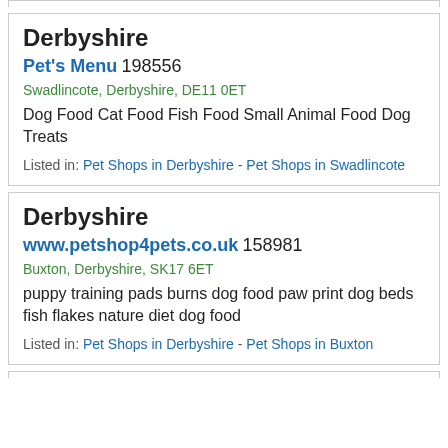Derbyshire
Pet's Menu 198556
Swadlincote, Derbyshire, DE11 0ET
Dog Food Cat Food Fish Food Small Animal Food Dog Treats
Listed in: Pet Shops in Derbyshire - Pet Shops in Swadlincote
Derbyshire
www.petshop4pets.co.uk 158981
Buxton, Derbyshire, SK17 6ET
puppy training pads burns dog food paw print dog beds fish flakes nature diet dog food
Listed in: Pet Shops in Derbyshire - Pet Shops in Buxton